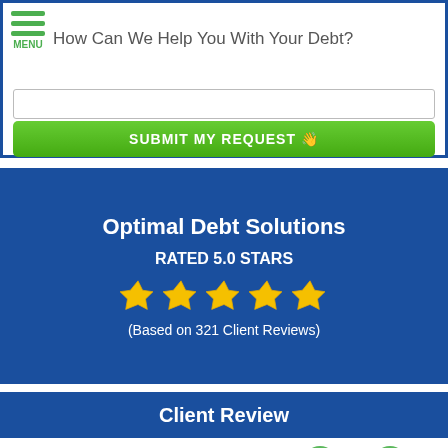How Can We Help You With Your Debt?
SUBMIT MY REQUEST
Optimal Debt Solutions
RATED 5.0 STARS
[Figure (infographic): Five gold stars rating]
(Based on 321 Client Reviews)
Client Review
Nicole was very friendly and always willing to help.